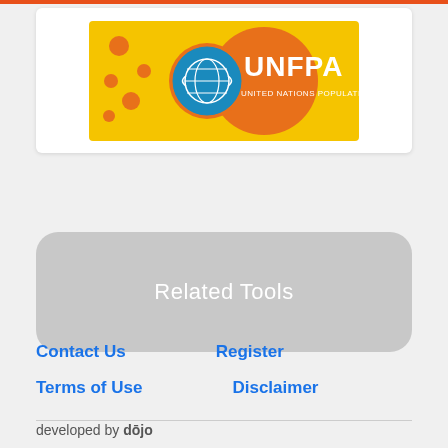[Figure (logo): UNFPA logo on yellow/orange background with UN emblem]
Related Tools
Contact Us
Register
Terms of Use
Disclaimer
developed by dōjo